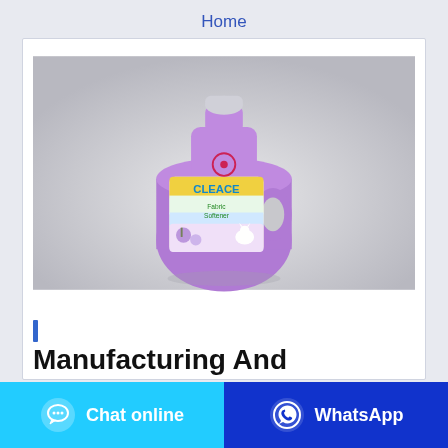Home
[Figure (photo): A purple fabric softener bottle labeled 'CLEACE Fabric Softener' with colorful label featuring lavender imagery and a small white cat, photographed on a light gray background with a slight reflection.]
Manufacturing And
Chat online
WhatsApp